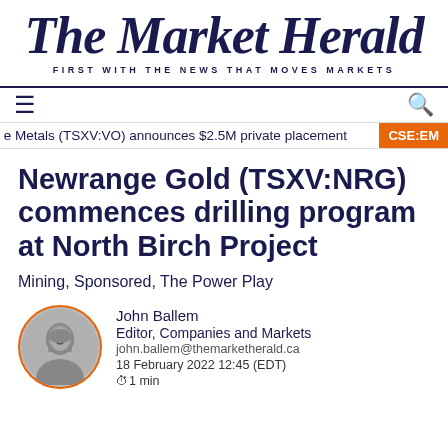The Market Herald
FIRST WITH THE NEWS THAT MOVES MARKETS
≡   Q
e Metals (TSXV:VO) announces $2.5M private placement  CSE:EM
Newrange Gold (TSXV:NRG) commences drilling program at North Birch Project
Mining, Sponsored, The Power Play
John Ballem
Editor, Companies and Markets
john.ballem@themarketherald.ca
18 February 2022 12:45 (EDT)
⏱1 min